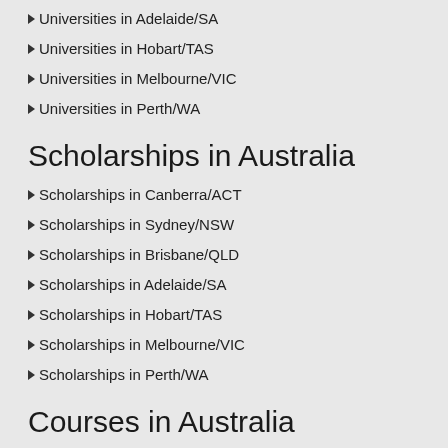Universities in Adelaide/SA
Universities in Hobart/TAS
Universities in Melbourne/VIC
Universities in Perth/WA
Scholarships in Australia
Scholarships in Canberra/ACT
Scholarships in Sydney/NSW
Scholarships in Brisbane/QLD
Scholarships in Adelaide/SA
Scholarships in Hobart/TAS
Scholarships in Melbourne/VIC
Scholarships in Perth/WA
Courses in Australia
Courses in Canberra/ACT